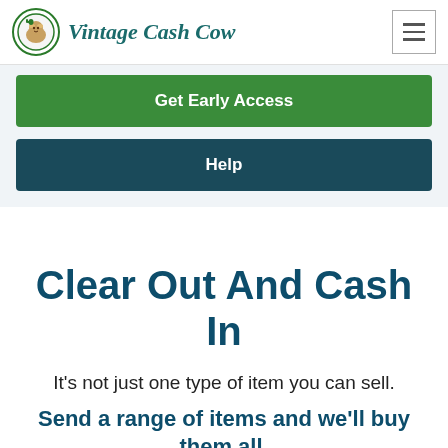Vintage Cash Cow
Get Early Access
Help
Clear Out And Cash In
It's not just one type of item you can sell.
Send a range of items and we'll buy them all.